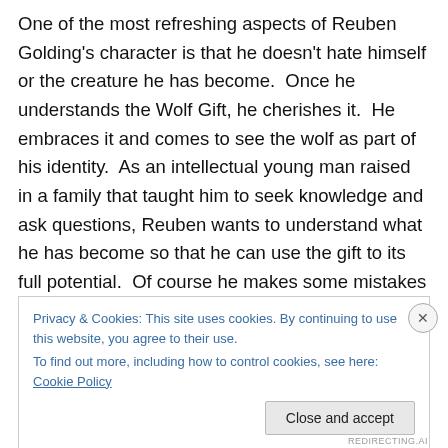One of the most refreshing aspects of Reuben Golding's character is that he doesn't hate himself or the creature he has become.  Once he understands the Wolf Gift, he cherishes it.  He embraces it and comes to see the wolf as part of his identity.  As an intellectual young man raised in a family that taught him to seek knowledge and ask questions, Reuben wants to understand what he has become so that he can use the gift to its full potential.  Of course he makes some mistakes along the way, but these mistakes make Reuben's character all the more real, for he is a man stumbling through this transformation alone.
Privacy & Cookies: This site uses cookies. By continuing to use this website, you agree to their use.
To find out more, including how to control cookies, see here: Cookie Policy